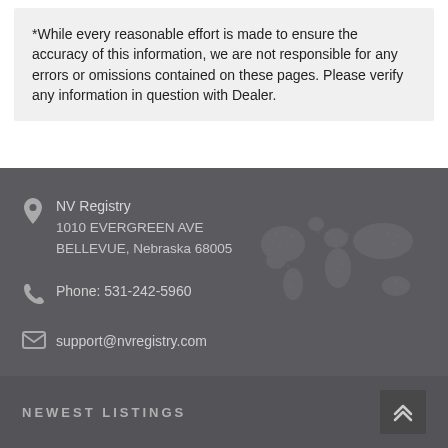*While every reasonable effort is made to ensure the accuracy of this information, we are not responsible for any errors or omissions contained on these pages. Please verify any information in question with Dealer.
NV Registry
1010 EVERGREEN AVE
BELLEVUE, Nebraska 68005
Phone: 531-242-5960
support@nvregistry.com
NEWEST LISTINGS